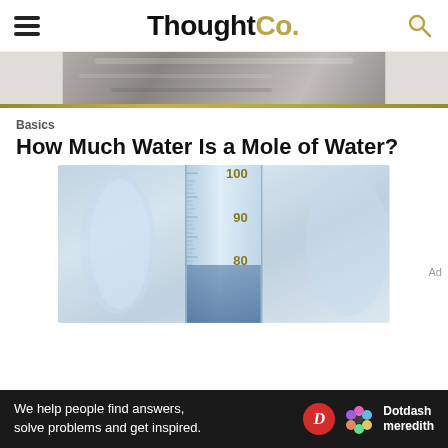ThoughtCo.
[Figure (photo): Top banner image showing a rocky/mineral surface in grayscale]
Basics
How Much Water Is a Mole of Water?
[Figure (photo): Close-up photo of a graduated cylinder with water, showing measurement markings at 80, 90, and 100]
Ad
We help people find answers, solve problems and get inspired.  Dotdash meredith